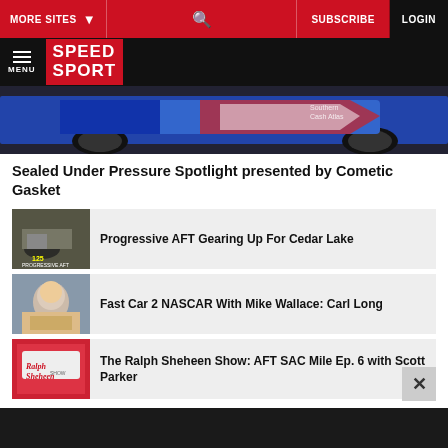MORE SITES  SUBSCRIBE  LOGIN
[Figure (logo): Speed Sport logo with hamburger menu icon]
[Figure (photo): Partial view of a blue racing car with red and white stripes]
Sealed Under Pressure Spotlight presented by Cometic Gasket
[Figure (photo): Thumbnail image for Progressive AFT Gearing Up For Cedar Lake article]
Progressive AFT Gearing Up For Cedar Lake
[Figure (photo): Thumbnail image showing a NASCAR driver for Fast Car 2 NASCAR With Mike Wallace: Carl Long]
Fast Car 2 NASCAR With Mike Wallace: Carl Long
[Figure (photo): Thumbnail image showing Ralph Sheheen Show logo]
The Ralph Sheheen Show: AFT SAC Mile Ep. 6 with Scott Parker